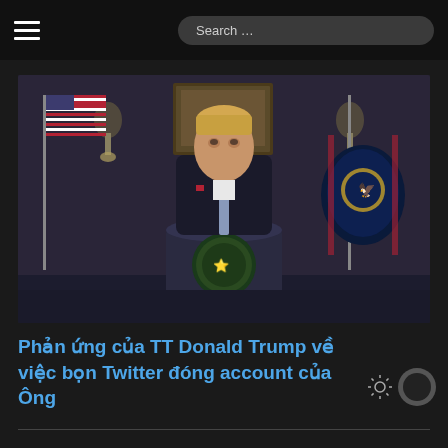Search ...
[Figure (photo): Donald Trump standing at a presidential podium with the Presidential Seal, in a formal room with American flags on either side and a painting on the wall behind him. He is wearing a dark suit with a light blue tie.]
Phản ứng của TT Donald Trump về việc bọn Twitter đóng account của Ông